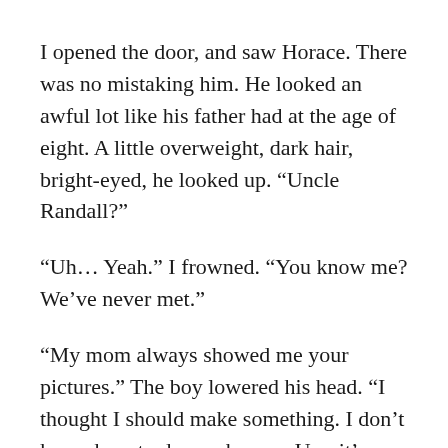I opened the door, and saw Horace. There was no mistaking him. He looked an awful lot like his father had at the age of eight. A little overweight, dark hair, bright-eyed, he looked up. “Uncle Randall?”
“Uh… Yeah.” I frowned. “You know me? We’ve never met.”
“My mom always showed me your pictures.” The boy lowered his head. “I thought I should make something. I don’t know how to do much, so… Um, it’s eggs.”
I looked into the pan. For the efforts of a kid whose head barely reached above the counter, they looked damn good. “Your mom-” I paused for a moment, then another, struggling to speak. It’d